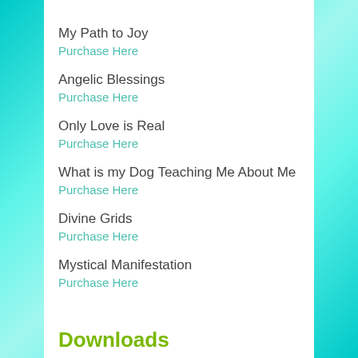My Path to Joy
Purchase Here
Angelic Blessings
Purchase Here
Only Love is Real
Purchase Here
What is my Dog Teaching Me About Me
Purchase Here
Divine Grids
Purchase Here
Mystical Manifestation
Purchase Here
Downloads